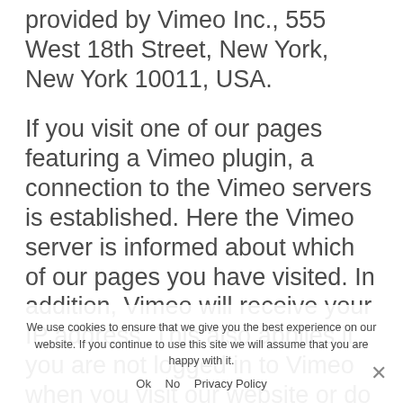provided by Vimeo Inc., 555 West 18th Street, New York, New York 10011, USA.
If you visit one of our pages featuring a Vimeo plugin, a connection to the Vimeo servers is established. Here the Vimeo server is informed about which of our pages you have visited. In addition, Vimeo will receive your IP address. This also applies if you are not logged in to Vimeo when you visit our website or do not have a Vimeo account. The information is transmitted to a Vimeo server in the US, where it is stored.
We use cookies to ensure that we give you the best experience on our website. If you continue to use this site we will assume that you are happy with it.
Ok  No  Privacy Policy